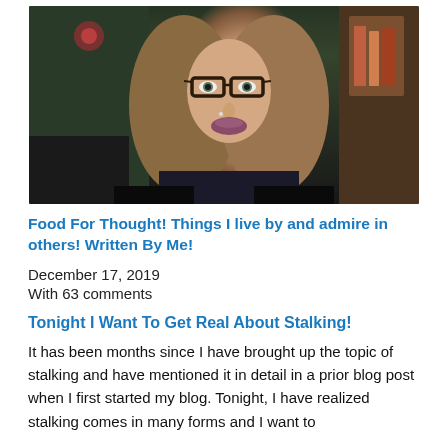[Figure (photo): Portrait photo of a woman with long brown hair wearing glasses and dark lipstick, seated in front of a Christmas tree and bookshelf background.]
Food For Thought! Things I live by and admire in others! Written By Me!
December 17, 2019
With 63 comments
Tonight I Want To Get Real About Stalking!
It has been months since I have brought up the topic of stalking and have mentioned it in detail in a prior blog post when I first started my blog. Tonight, I have realized stalking comes in many forms and I want to